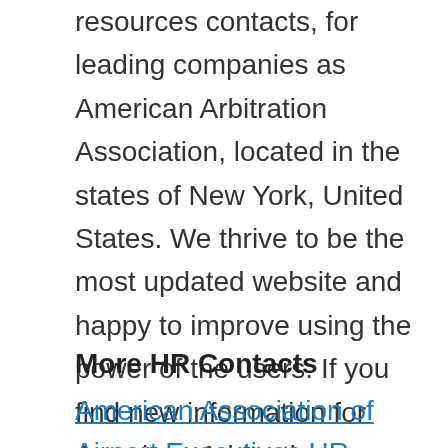resources contacts, for leading companies as American Arbitration Association, located in the states of New York, United States. We thrive to be the most updated website and happy to improve using the power of the users. If you find new information for American Arbitration Association HR Phone Number, please help us by sending us the new information. Our team will promptly verify the information and publish it for the benefits for all users.
More HR Contacts
American Association of Airport Executives HR Phone Number